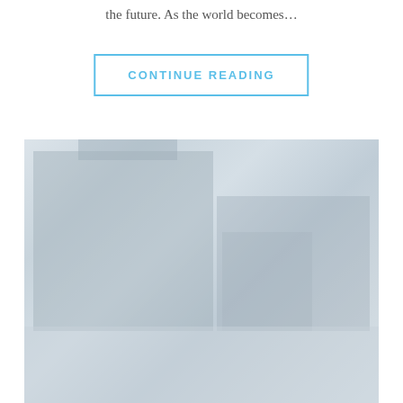the future. As the world becomes…
CONTINUE READING
[Figure (photo): Faded/washed-out photograph of a multi-story commercial or civic building complex, with brutalist or modernist architecture, viewed from street level. The image is very light/pale with low contrast.]